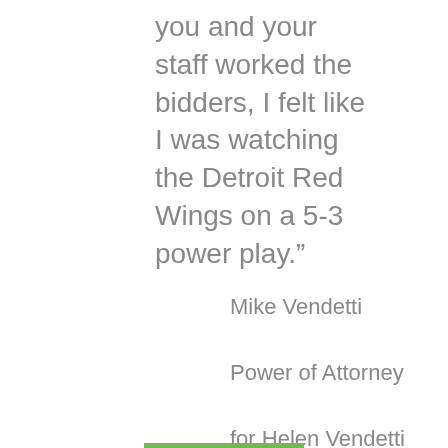you and your staff worked the bidders, I felt like I was watching the Detroit Red Wings on a 5-3 power play.”
Mike Vendetti
Power of Attorney
for Helen Vendetti
Canon City, CO